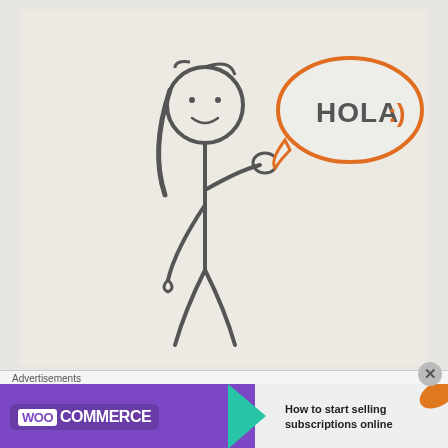[Figure (illustration): Hand-drawn stick figure of a girl with long hair, raising one hand with a speech bubble saying 'HOLA :)' in orange outline on a light beige background.]
[Figure (illustration): Handwritten text on beige background reading: 'BEN PASTOR' in dark green capital letters, then 'YOU LOVE BOWTIES (THE FASHION ACCESORY AS WELL AS THE PASTA)' in mixed blue/green/dark handwriting. Below is a partial illustration showing what appears to be a face/figure, and the word 'PASTOR' in handwriting.]
Advertisements
[Figure (screenshot): WooCommerce advertisement banner with purple left side showing WooCommerce logo with teal arrow, and right side on grey reading 'How to start selling subscriptions online' with orange leaf decoration.]